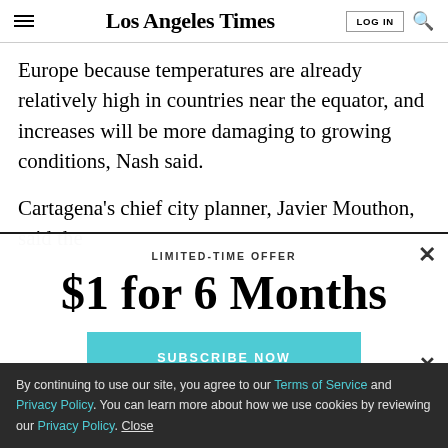Los Angeles Times
Europe because temperatures are already relatively high in countries near the equator, and increases will be more damaging to growing conditions, Nash said.
Cartagena's chief city planner, Javier Mouthon, said the
LIMITED-TIME OFFER
$1 for 6 Months
SUBSCRIBE NOW
By continuing to use our site, you agree to our Terms of Service and Privacy Policy. You can learn more about how we use cookies by reviewing our Privacy Policy. Close